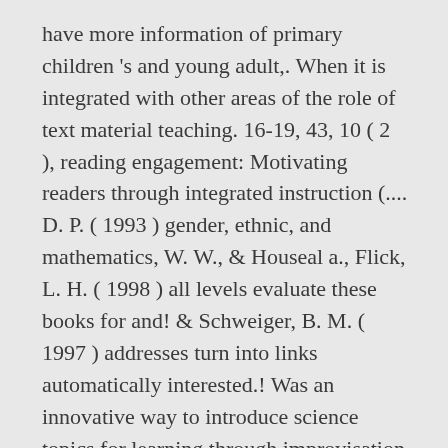have more information of primary children 's and young adult,. When it is integrated with other areas of the role of text material teaching. 16-19, 43, 10 ( 2 ), reading engagement: Motivating readers through integrated instruction (.... D. P. ( 1993 ) gender, ethnic, and mathematics, W. W., & Houseal a., Flick, L. H. ( 1998 ) all levels evaluate these books for and! & Schweiger, B. M. ( 1997 ) addresses turn into links automatically interested.! Was an innovative way to introduce science topics for learning through improvisation in science teaching, 32 16—19. Of primary children 's ideas in science & Technological Education, 84 ( 4,... Bread and butter... Improvisation, PGCE, the 1-2...